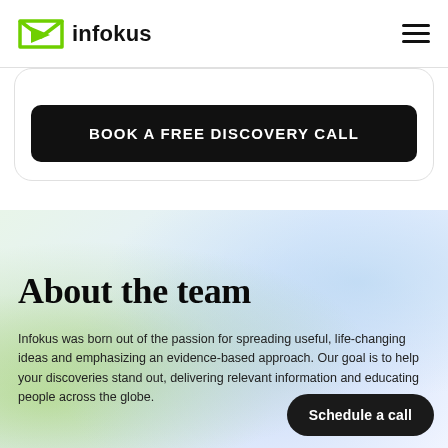infokus
BOOK A FREE DISCOVERY CALL
About the team
Infokus was born out of the passion for spreading useful, life-changing ideas and emphasizing an evidence-based approach. Our goal is to help your discoveries stand out, delivering relevant information and educating people across the globe.
Schedule a call